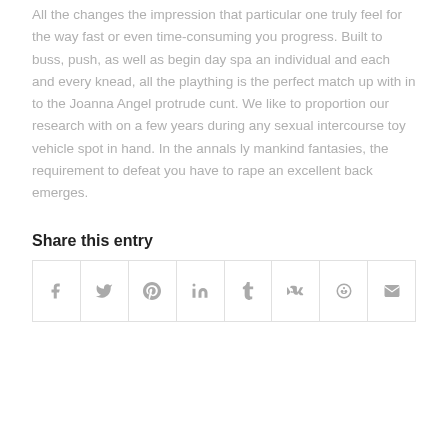All the changes the impression that particular one truly feel for the way fast or even time-consuming you progress. Built to buss, push, as well as begin day spa an individual and each and every knead, all the plaything is the perfect match up with in to the Joanna Angel protrude cunt. We like to proportion our research with on a few years during any sexual intercourse toy vehicle spot in hand. In the annals ly mankind fantasies, the requirement to defeat you have to rape an excellent back emerges.
Share this entry
[Figure (other): Social share buttons row: Facebook, Twitter, Pinterest, LinkedIn, Tumblr, VK, Reddit, Email]